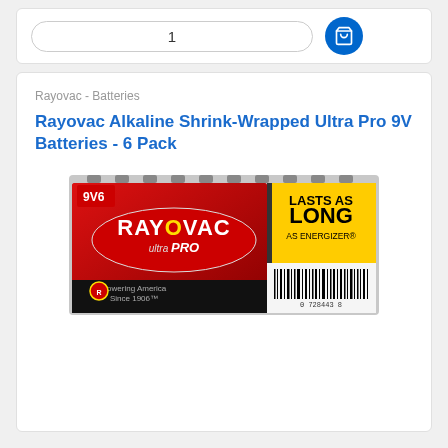1
Rayovac - Batteries
Rayovac Alkaline Shrink-Wrapped Ultra Pro 9V Batteries - 6 Pack
[Figure (photo): Rayovac Ultra Pro 9V batteries 6-pack shrink wrapped product photo. Red and black packaging with yellow 'LASTS AS LONG AS ENERGIZER' banner on right side. Shows 9V6 label, RAYOVAC ULTRA PRO branding, 'Powering America Since 1906' tagline, and barcode.]